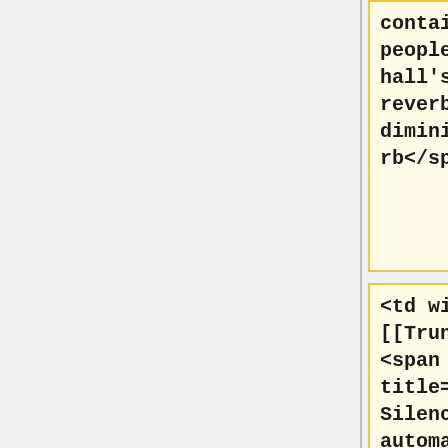contain so many people that the hall's natural reverberance is diminished.">Reverb</span>]]</td>
<td width="25%">[[Truncate Silence|<span title="Truncate Silence automatically reduces the length of passages where the volume is below the specified level for at least the specified duration. The effect offers a basic option that truncates to the exact length specified and an